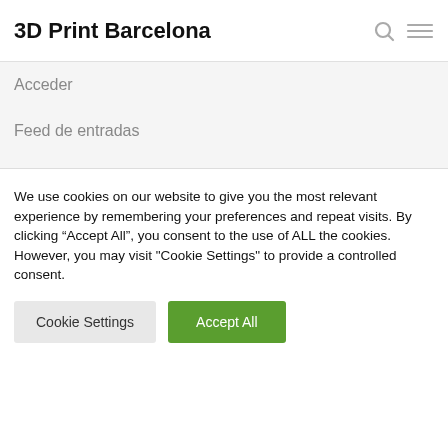3D Print Barcelona
Acceder
Feed de entradas
Feed de comentarios
WordPress.org
We use cookies on our website to give you the most relevant experience by remembering your preferences and repeat visits. By clicking “Accept All”, you consent to the use of ALL the cookies. However, you may visit "Cookie Settings" to provide a controlled consent.
Cookie Settings | Accept All